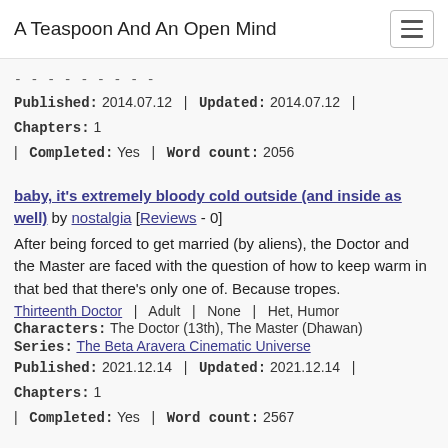A Teaspoon And An Open Mind
Published: 2014.07.12 | Updated: 2014.07.12 | Chapters: 1 | Completed: Yes | Word count: 2056
baby, it's extremely bloody cold outside (and inside as well) by nostalgia [Reviews - 0]
After being forced to get married (by aliens), the Doctor and the Master are faced with the question of how to keep warm in that bed that there's only one of. Because tropes.
Thirteenth Doctor | Adult | None | Het, Humor
Characters: The Doctor (13th), The Master (Dhawan)
Series: The Beta Aravera Cinematic Universe
Published: 2021.12.14 | Updated: 2021.12.14 | Chapters: 1 | Completed: Yes | Word count: 2567
Banana, Split by nostalgia [Reviews - 4]
Ice-cream leads to something a bit hotter. (Eleven/Amy)
Eleventh Doctor | Adult | Explicit Sex | Het
Characters: Amy Pond, The Doctor (11th)
Series: None